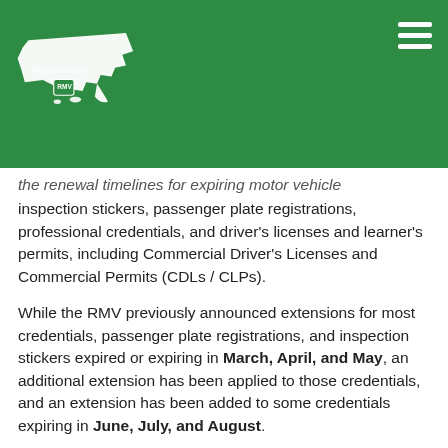[Figure (logo): Massachusetts state outline logo with 'Massachusetts' text and RMV emblem in white on green header background]
the renewal timelines for expiring motor vehicle inspection stickers, passenger plate registrations, professional credentials, and driver's licenses and learner's permits, including Commercial Driver's Licenses and Commercial Permits (CDLs / CLPs).
While the RMV previously announced extensions for most credentials, passenger plate registrations, and inspection stickers expired or expiring in March, April, and May, an additional extension has been applied to those credentials, and an extension has been added to some credentials expiring in June, July, and August.
These extensions replicate the ongoing measures the RMV has taken to reduce the need for customers to physically visit an RMV Service Center or one of its business partners' facilities,